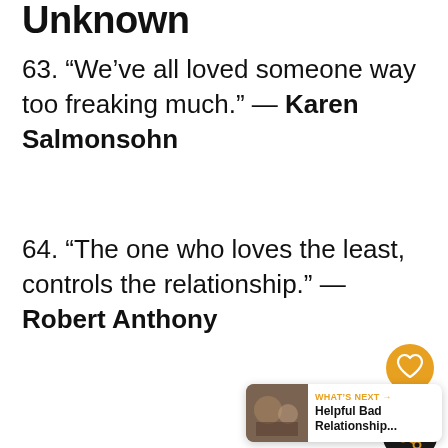Unknown
63. “We’ve all loved someone way too freaking much.” — Karen Salmonsohn
64. “The one who loves the least, controls the relationship.” — Robert Anthony
[Figure (infographic): Heart/like button (orange circle with heart icon), share count pill showing 12 with share icon, and a 'What's Next' content recommendation banner showing 'Helpful Bad Relationship...']